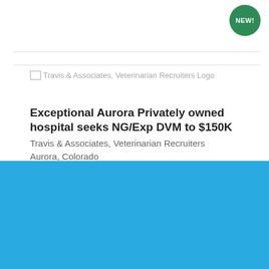[Figure (logo): Travis & Associates, Veterinarian Recruiters Logo placeholder image]
Exceptional Aurora Privately owned hospital seeks NG/Exp DVM to $150K
Travis & Associates, Veterinarian Recruiters
Aurora, Colorado
Cookie Settings  Got it
We use cookies so that we can remember you and understand how you use our site. If you do not agree with our use of cookies, please change the current settings found in our Cookie Policy. Otherwise, you agree to the use of the cookies as they are currently set.